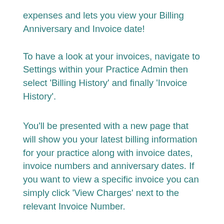expenses and lets you view your Billing Anniversary and Invoice date!
To have a look at your invoices, navigate to Settings within your Practice Admin then select 'Billing History' and finally 'Invoice History'.
You'll be presented with a new page that will show you your latest billing information for your practice along with invoice dates, invoice numbers and anniversary dates. If you want to view a specific invoice you can simply click 'View Charges' next to the relevant Invoice Number.
You will be provided with a product breakdown so that you can make sense of the total invoice amounts. If there are any new patient charges associated with your Patient